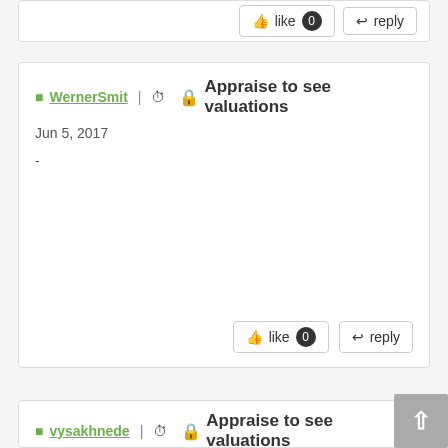like 0  reply (partial top card)
WernerSmit | Jun 5, 2017 | 🔒 Appraise to see valuations
-
like 0  reply
vysakhnede | 🔒 Appraise to see valuations (partial bottom card)